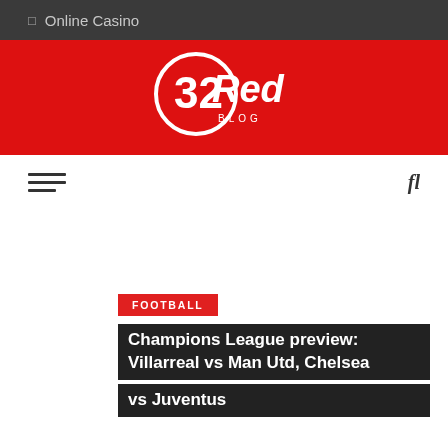Online Casino
[Figure (logo): 32Red Blog logo — white circular logo with '32Red' text and 'BLOG' text beneath on red background]
FOOTBALL
Champions League preview: Villarreal vs Man Utd, Chelsea vs Juventus